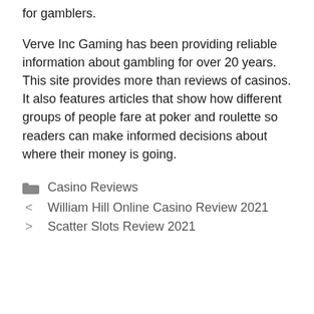for gamblers.
Verve Inc Gaming has been providing reliable information about gambling for over 20 years. This site provides more than reviews of casinos. It also features articles that show how different groups of people fare at poker and roulette so readers can make informed decisions about where their money is going.
Casino Reviews
William Hill Online Casino Review 2021
Scatter Slots Review 2021